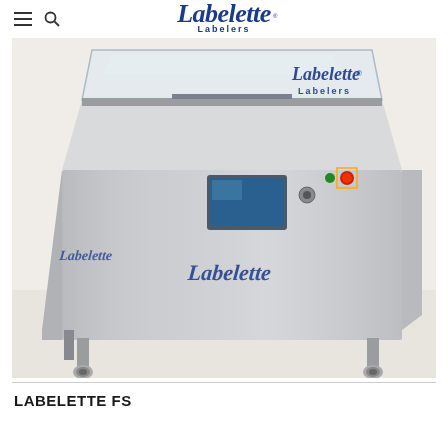≡ 🔍  Labelette Labelers
[Figure (photo): Labelette FS labeling machine — a large stainless steel industrial flat-surface labeler on caster wheels, with a touchscreen control panel, a clear acrylic top cover, and blue Labelette script logo on the front panel. The Labelette Labelers logo is visible in the top right of the photo.]
LABELETTE FS